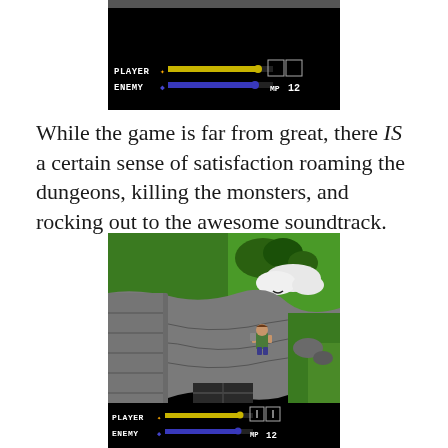[Figure (screenshot): Video game screenshot showing a battle HUD with PLAYER health bar (yellow), ENEMY health bar (blue), and MP 12 display on black background]
While the game is far from great, there IS a certain sense of satisfaction roaming the dungeons, killing the monsters, and rocking out to the awesome soundtrack.
[Figure (screenshot): Video game screenshot showing an isometric top-down RPG scene with green grass, gray rocky terrain/dungeon entrance, a player character sprite, and a HUD showing PLAYER/ENEMY health bars and MP 12]